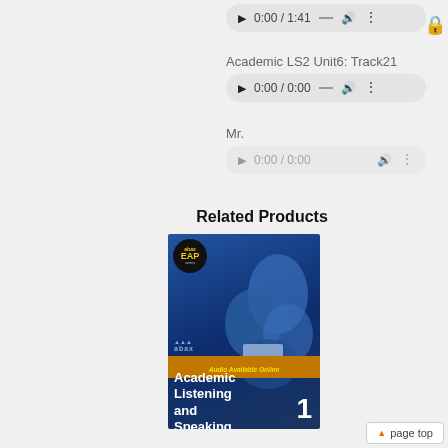[Figure (screenshot): Audio player showing 0:00 / 1:41 with play button, progress bar, volume, and menu]
Academic LS2 Unit6: Track21
[Figure (screenshot): Audio player showing 0:00 / 0:00 with play button, progress bar, volume, and menu]
Mr.
[Figure (screenshot): Audio player showing 0:00 / 0:00 with dimmed play button, volume, and menu]
Related Products
[Figure (illustration): Book cover for Academic Listening and Speaking 1 by ABAX EAP, blue-toned with students studying, Audio Available Online badge]